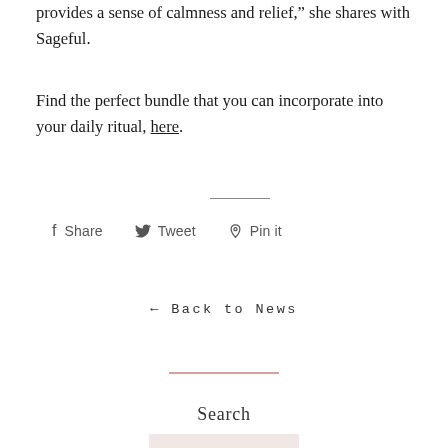provides a sense of calmness and relief," she shares with Sageful.
Find the perfect bundle that you can incorporate into your daily ritual, here.
f Share   Tweet   Pin it
← Back to News
Search